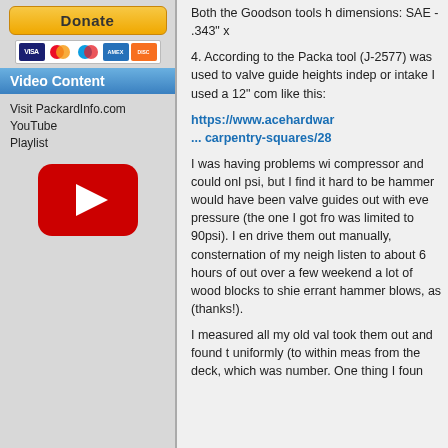[Figure (other): PayPal Donate button with credit card icons (Visa, Mastercard, Maestro, Amex, Discover)]
Video Content
Visit PackardInfo.com YouTube Playlist
[Figure (other): YouTube play button icon (red rounded rectangle with white triangle)]
Both the Goodson tools h dimensions: SAE - .343" x
4. According to the Packa tool (J-2577) was used to valve guide heights indep or intake I used a 12" com like this:
https://www.acehardwar ... carpentry-squares/28
I was having problems wi compressor and could on psi, but I find it hard to be hammer would have been valve guides out with eve pressure (the one I got fr was limited to 90psi). I en drive them out manually, consternation of my neigh listen to about 6 hours of out over a few weekend a lot of wood blocks to shie errant hammer blows, as (thanks!).
I measured all my old val took them out and found t uniformly (to within meas from the deck, which was number. One thing I foun